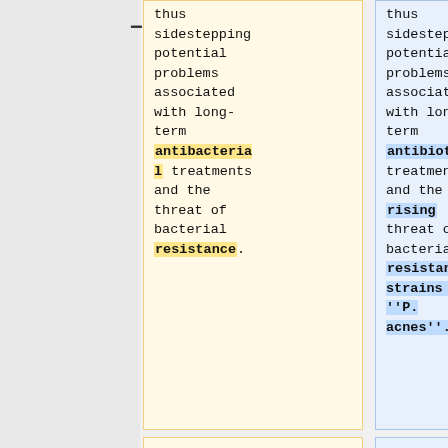thus sidestepping potential problems associated with long-term antibacterial treatments and the threat of bacterial resistance.
thus sidestepping potential problems associated with long-term antibiotic treatments and the rising threat of bacterial resistant strains of ''P. acnes''.[3]
2.
2. Use of ''P. acnes'' in conjugated